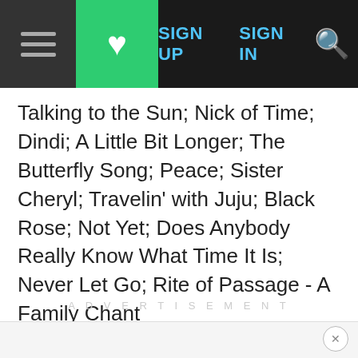SIGN UP  SIGN IN
Talking to the Sun; Nick of Time; Dindi; A Little Bit Longer; The Butterfly Song; Peace; Sister Cheryl; Travelin' with Juju; Black Rose; Not Yet; Does Anybody Really Know What Time It Is; Never Let Go; Rite of Passage - A Family Chant
ADVERTISEMENT